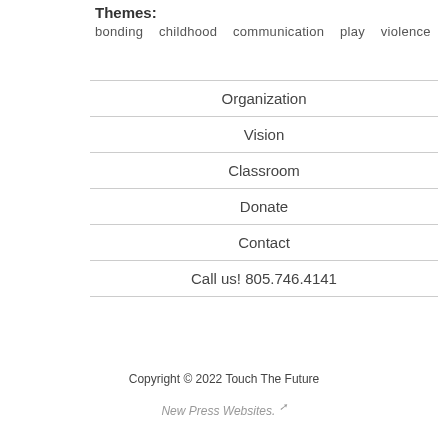Themes: bonding   childhood   communication   play   violence
Organization
Vision
Classroom
Donate
Contact
Call us! 805.746.4141
Copyright © 2022 Touch The Future
New Press Websites. ↗